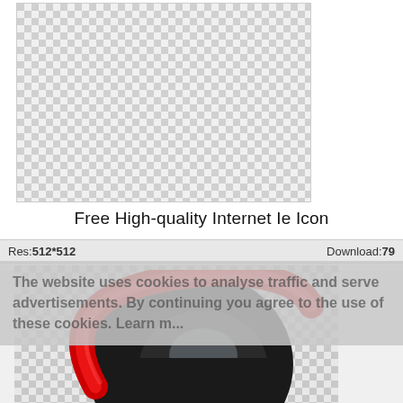[Figure (illustration): Checkerboard transparency background pattern in a bordered rectangle, representing the transparent area of an icon image]
Free High-quality Internet Ie Icon
Res: 512*512   Download: 79
The website uses cookies to analyse traffic and serve advertisements. By continuing you agree to the use of these cookies. Learn more
[Figure (illustration): Internet Explorer browser icon — a black stylized lowercase 'e' letter with a red swoosh/arc across the top-left, displayed over a checkerboard transparency background]